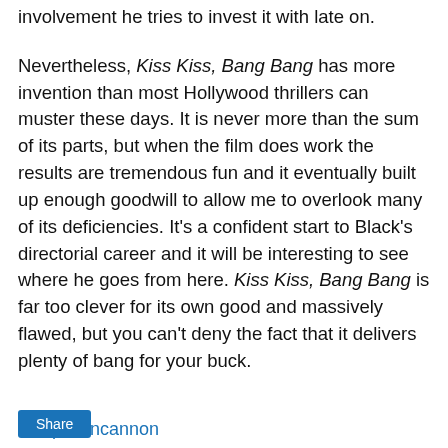involvement he tries to invest it with late on.
Nevertheless, Kiss Kiss, Bang Bang has more invention than most Hollywood thrillers can muster these days. It is never more than the sum of its parts, but when the film does work the results are tremendous fun and it eventually built up enough goodwill to allow me to overlook many of its deficiencies. It's a confident start to Black's directorial career and it will be interesting to see where he goes from here. Kiss Kiss, Bang Bang is far too clever for its own good and massively flawed, but you can't deny the fact that it delivers plenty of bang for your buck.
Philip Concannon